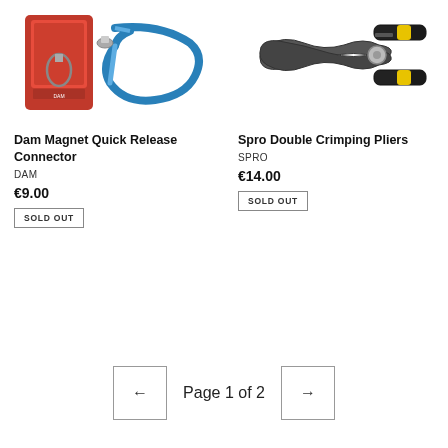[Figure (photo): Dam Magnet Quick Release Connector product photo showing a red blister pack and a blue carabiner clip connector]
Dam Magnet Quick Release Connector
DAM
€9.00
SOLD OUT
[Figure (photo): Spro Double Crimping Pliers product photo showing black and yellow handled pliers]
Spro Double Crimping Pliers
SPRO
€14.00
SOLD OUT
Page 1 of 2